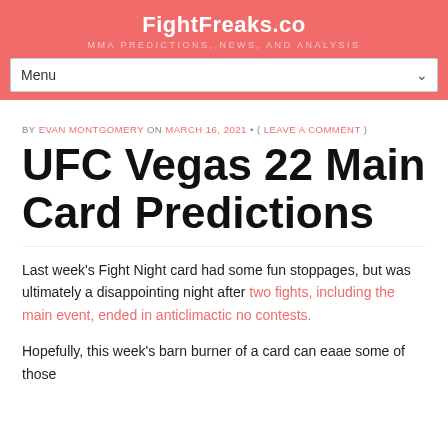FightFreaks.co
MMA PREDICTIONS, NEWS, AND ANALYSIS
BY EVAN MONTGOMERY ON MARCH 16, 2021 • ( LEAVE A COMMENT )
UFC Vegas 22 Main Card Predictions
Last week's Fight Night card had some fun stoppages, but was ultimately a disappointing night after two fights, including the main event, ended in anticlimactic no contests.
Hopefully, this week's barn burner of a card can eaae some of those